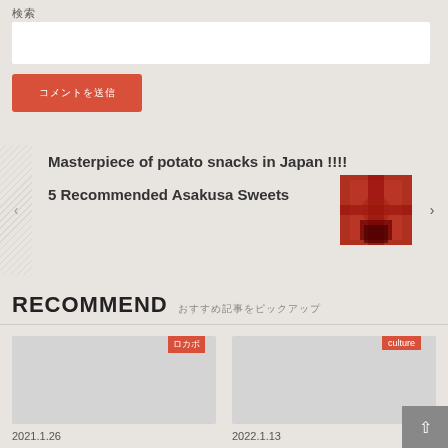検索
[Figure (other): Search input box (white rectangle)]
[Figure (other): Red search button with Japanese text label]
Masterpiece of potato snacks in Japan !!!!
5 Recommended Asakusa Sweets
[Figure (photo): Thumbnail photo of Asakusa temple with red torii gate]
RECOMMEND　おすすめ記事をピックアップ
[Figure (photo): Left article card image placeholder with tag ロカボ]
[Figure (photo): Right article card image placeholder with tag culture]
2021.1.26
2022.1.13